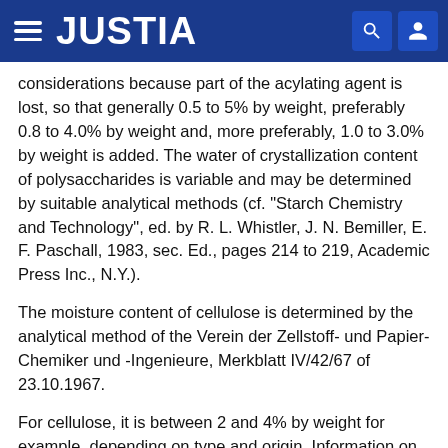JUSTIA
considerations because part of the acylating agent is lost, so that generally 0.5 to 5% by weight, preferably 0.8 to 4.0% by weight and, more preferably, 1.0 to 3.0% by weight is added. The water of crystallization content of polysaccharides is variable and may be determined by suitable analytical methods (cf. "Starch Chemistry and Technology", ed. by R. L. Whistler, J. N. Bemiller, E. F. Paschall, 1983, sec. Ed., pages 214 to 219, Academic Press Inc., N.Y.).
The moisture content of cellulose is determined by the analytical method of the Verein der Zellstoff- und Papier-Chemiker und -Ingenieure, Merkblatt IV/42/67 of 23.10.1967.
For cellulose, it is between 2 and 4% by weight for example, depending on type and origin. Information on bound water or moisture content can be found in the